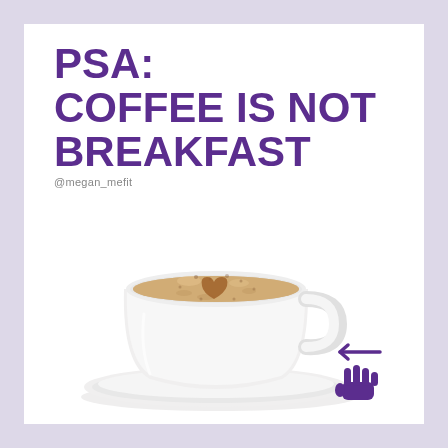PSA: COFFEE IS NOT BREAKFAST
@megan_mefit
[Figure (photo): A white ceramic coffee cup on a saucer, filled with frothy cappuccino with a heart-shaped latte art design in brown on top, photographed from a slightly elevated angle against a white background.]
[Figure (illustration): A purple hand/finger pointer icon with a left-pointing arrow above it, indicating to swipe or tap left.]